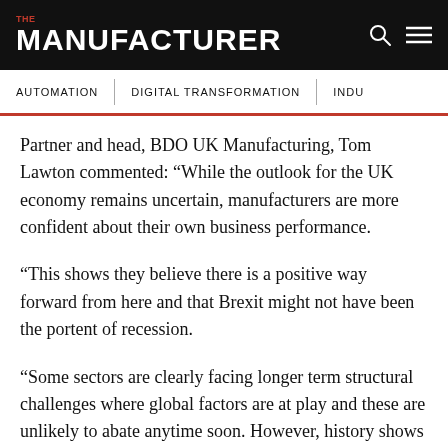THE MANUFACTURER
AUTOMATION | DIGITAL TRANSFORMATION | INDU
Partner and head, BDO UK Manufacturing, Tom Lawton commented: “While the outlook for the UK economy remains uncertain, manufacturers are more confident about their own business performance.
“This shows they believe there is a positive way forward from here and that Brexit might not have been the portent of recession.
“Some sectors are clearly facing longer term structural challenges where global factors are at play and these are unlikely to abate anytime soon. However, history shows that in difficult economic circumstances there are always